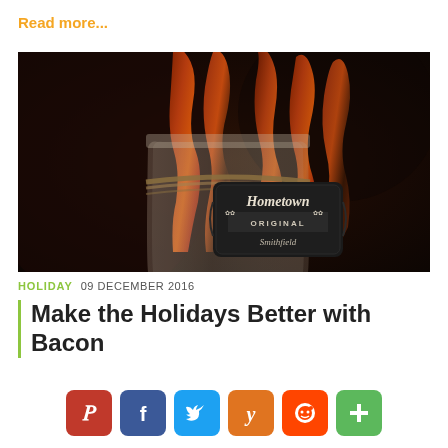Read more...
[Figure (photo): Crispy bacon strips standing upright in a glass Mason jar tied with twine, with a black chalkboard label reading 'Hometown Original Smithfield']
HOLIDAY  09 DECEMBER 2016
Make the Holidays Better with Bacon
[Figure (infographic): Social sharing buttons: Pinterest (red), Facebook (blue), Twitter (light blue), Yummly (orange), Reddit (orange-red), More/Add (green)]